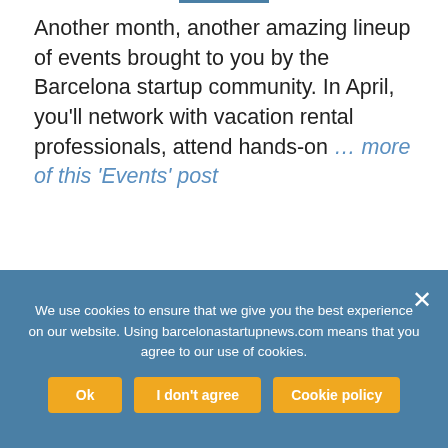Another month, another amazing lineup of events brought to you by the Barcelona startup community. In April, you'll network with vacation rental professionals, attend hands-on … more of this 'Events' post
[Figure (photo): EU Startups Summit logo overlaid on a photo of Barcelona skyline with a tower on the right side. Logo shows mountain graphic, star cluster, EU-Startups text and SUMMIT in blue box.]
We use cookies to ensure that we give you the best experience on our website. Using barcelonastartupnews.com means that you agree to our use of cookies.